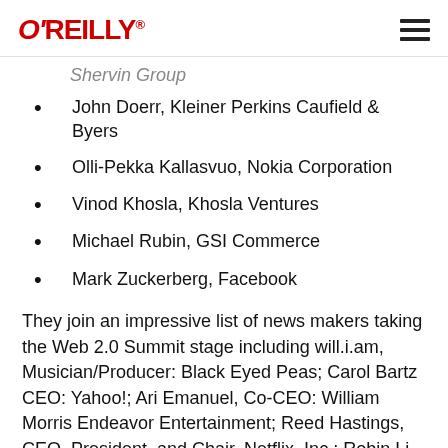O'REILLY
Shervin Group
John Doerr, Kleiner Perkins Caufield & Byers
Olli-Pekka Kallasvuo, Nokia Corporation
Vinod Khosla, Khosla Ventures
Michael Rubin, GSI Commerce
Mark Zuckerberg, Facebook
They join an impressive list of news makers taking the Web 2.0 Summit stage including will.i.am, Musician/Producer: Black Eyed Peas; Carol Bartz CEO: Yahoo!; Ari Emanuel, Co-CEO: William Morris Endeavor Entertainment; Reed Hastings, CEO, President, and Chair, Netflix, Inc.; Robin Li Co-Founder, Chairman and CEO: Baidu, Inc.; and Susan Lyne, CEO, Gilt Groupe LLC; Yuri Milner, CEO, Digital Sky Technologies and Frank